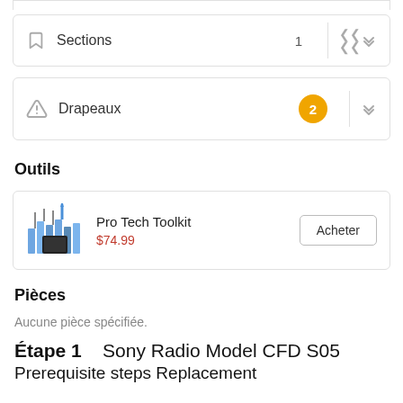Sections 1
Drapeaux 2
Outils
| Product | Price | Action |
| --- | --- | --- |
| Pro Tech Toolkit | $74.99 | Acheter |
Pièces
Aucune pièce spécifiée.
Étape 1   Sony Radio Model CFD S05 Prerequisite steps Replacement